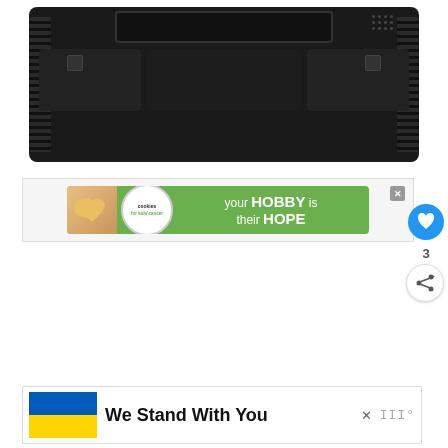[Figure (photo): Product photo of a black electronic device base/stand viewed from below, showing ridged sides, mounting clips, ventilation dots, and compartments on a dark background]
[Figure (infographic): Green advertisement banner for Cookies for Kids' Cancer charity reading 'your HOBBY is their HOPE' with a cookies logo circle and heart-shaped cookie image]
[Figure (infographic): Advertisement banner with Ukrainian flag (blue and yellow) and bold text 'We Stand With You' with a close button and logo 'III°']